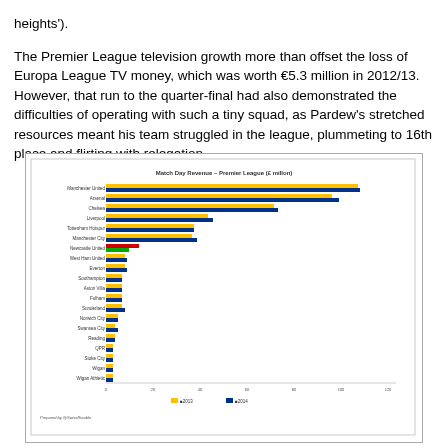heights').

The Premier League television growth more than offset the loss of Europa League TV money, which was worth €5.3 million in 2012/13. However, that run to the quarter-final had also demonstrated the difficulties of operating with such a tiny squad, as Pardew's stretched resources meant his team struggled in the league, plummeting to 16th place and flirting with relegation.
[Figure (bar-chart): Match Day Revenue – Premier League (£ millon)]